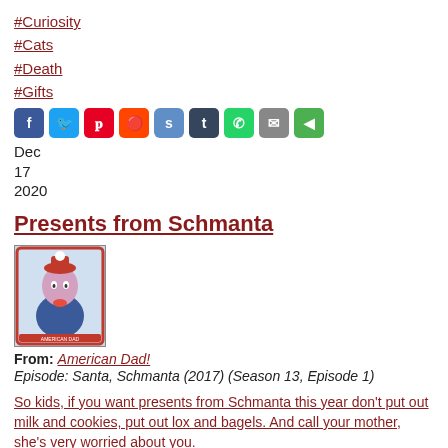#Curiosity
#Cats
#Death
#Gifts
[Figure (other): Row of social media share icons: Facebook (blue), Twitter (light blue), Pinterest (red), Reddit (orange), StumbleUpon (blue circle), Tumblr (dark), WhatsApp (green), Email (grey), Share (green)]
Dec
17
2020
Presents from Schmanta
[Figure (illustration): Card/book cover showing a cartoon character resembling Roger the Alien from American Dad dressed in holiday attire]
From: American Dad!
Episode: Santa, Schmanta (2017) (Season 13, Episode 1)
So kids, if you want presents from Schmanta this year don't put out milk and cookies, put out lox and bagels. And call your mother, she's very worried about you.
Seth MacFarlane (Roger the Alien)